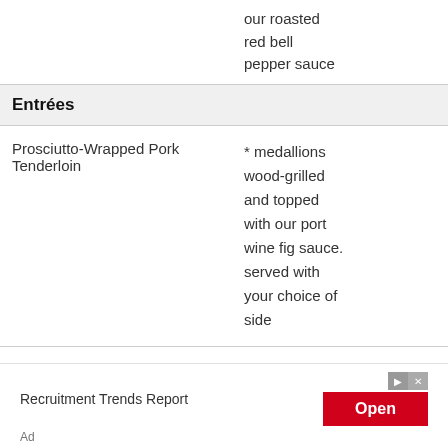our roasted red bell pepper sauce
Entrées
Prosciutto-Wrapped Pork Tenderloin
* medallions wood-grilled and topped with our port wine fig sauce. served with your choice of side
Recruitment Trends Report
Open
Ad